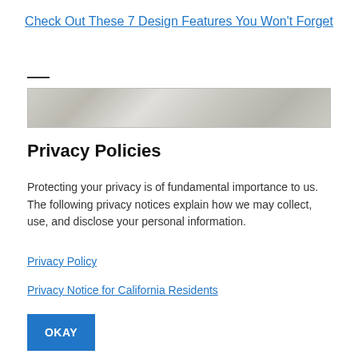Check Out These 7 Design Features You Won't Forget
[Figure (photo): Grayscale textured banner image, stone or concrete surface]
Privacy Policies
Protecting your privacy is of fundamental importance to us. The following privacy notices explain how we may collect, use, and disclose your personal information.
Privacy Policy
Privacy Notice for California Residents
OKAY